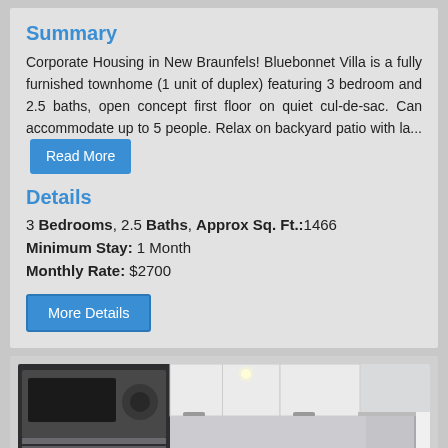Summary
Corporate Housing in New Braunfels! Bluebonnet Villa is a fully furnished townhome (1 unit of duplex) featuring 3 bedroom and 2.5 baths, open concept first floor on quiet cul-de-sac. Can accommodate up to 5 people. Relax on backyard patio with la... Read More
Details
3 Bedrooms, 2.5 Baths, Approx Sq. Ft.:1466
Minimum Stay: 1 Month
Monthly Rate: $2700
[Figure (photo): Kitchen interior photo showing dark appliances including microwave and refrigerator, white upper cabinets, hallway in background, with a Live Chat button overlay in bottom right corner]